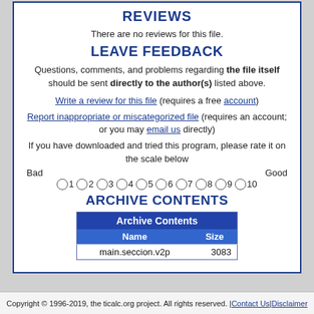REVIEWS
There are no reviews for this file.
LEAVE FEEDBACK
Questions, comments, and problems regarding the file itself should be sent directly to the author(s) listed above.
Write a review for this file (requires a free account)
Report inappropriate or miscategorized file (requires an account; or you may email us directly)
If you have downloaded and tried this program, please rate it on the scale below
Bad    Good   1 2 3 4 5 6 7 8 9 10
ARCHIVE CONTENTS
| Archive Contents |  |
| --- | --- |
| Name | Size |
| main.seccion.v2p | 3083 |
Copyright © 1996-2019, the ticalc.org project. All rights reserved. | Contact Us | Disclaimer